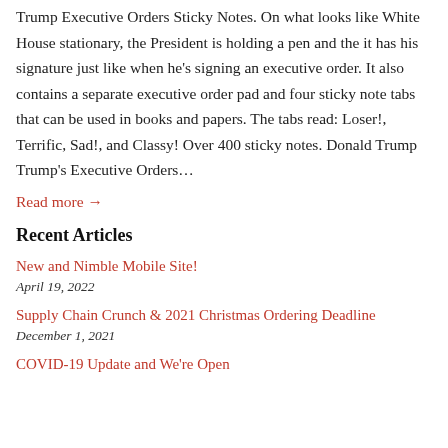Trump Executive Orders Sticky Notes. On what looks like White House stationary, the President is holding a pen and the it has his signature just like when he's signing an executive order. It also contains a separate executive order pad and four sticky note tabs that can be used in books and papers. The tabs read: Loser!, Terrific, Sad!, and Classy! Over 400 sticky notes. Donald Trump Trump's Executive Orders...
Read more →
Recent Articles
New and Nimble Mobile Site!
April 19, 2022
Supply Chain Crunch & 2021 Christmas Ordering Deadline
December 1, 2021
COVID-19 Update and We're Open